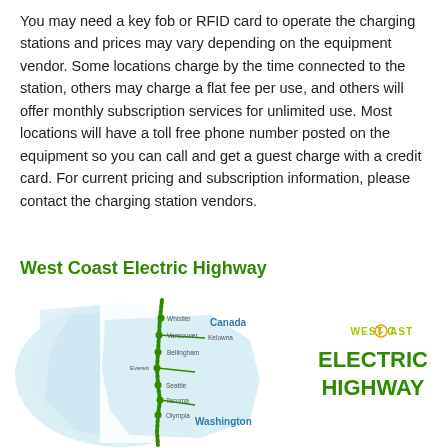You may need a key fob or RFID card to operate the charging stations and prices may vary depending on the equipment vendor. Some locations charge by the time connected to the station, others may charge a flat fee per use, and others will offer monthly subscription services for unlimited use. Most locations will have a toll free phone number posted on the equipment so you can call and get a guest charge with a credit card. For current pricing and subscription information, please contact the charging station vendors.
West Coast Electric Highway
[Figure (map): Map of the West Coast Electric Highway route running from Canada (Whistler, Vancouver, Kelowna) through Washington state (Bellingham, Everett, Seattle, Tacoma, Olympia) along the Pacific coast, with location dots on a green line showing the highway route. Canada and Washington labels visible.]
[Figure (logo): West Coast Electric Highway logo with yellow-green 'WEST COAST' text and large green 'ELECTRIC HIGHWAY' text, with an electric bolt icon replacing the 'O' in Coast.]